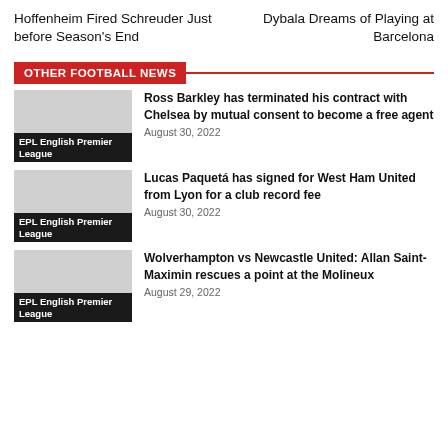Hoffenheim Fired Schreuder Just before Season's End
Dybala Dreams of Playing at Barcelona
OTHER FOOTBALL NEWS
Ross Barkley has terminated his contract with Chelsea by mutual consent to become a free agent
August 30, 2022
EPL English Premier League
Lucas Paquetá has signed for West Ham United from Lyon for a club record fee
August 30, 2022
EPL English Premier League
Wolverhampton vs Newcastle United: Allan Saint-Maximin rescues a point at the Molineux
August 29, 2022
EPL English Premier League